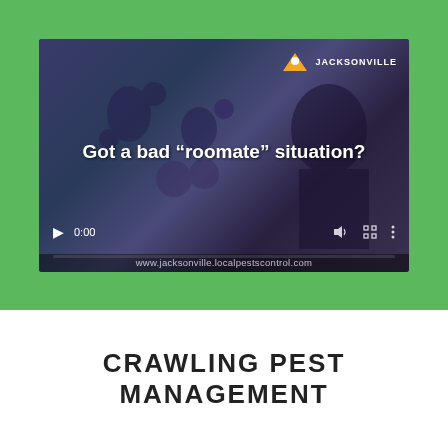[Figure (screenshot): Video player thumbnail showing a man's face with blurred insect/pest figures in a dark blue-tinted scene. Text overlay reads: Got a bad “roomate” situation? Jacksonville pest control logo in top right. Video controls showing 0:00 timestamp and www.jacksonville.localpestscontrol.com URL bar at bottom.]
CRAWLING PEST MANAGEMENT